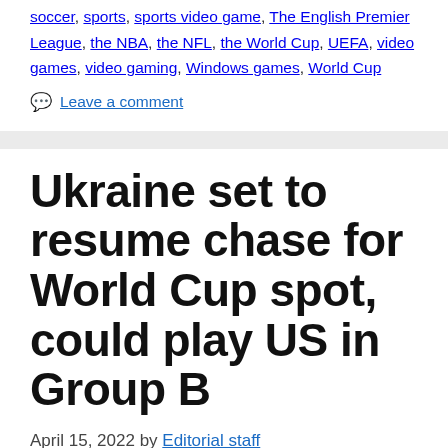soccer, sports, sports video game, The English Premier League, the NBA, the NFL, the World Cup, UEFA, video games, video gaming, Windows games, World Cup
💬 Leave a comment
Ukraine set to resume chase for World Cup spot, could play US in Group B
April 15, 2022 by Editorial staff